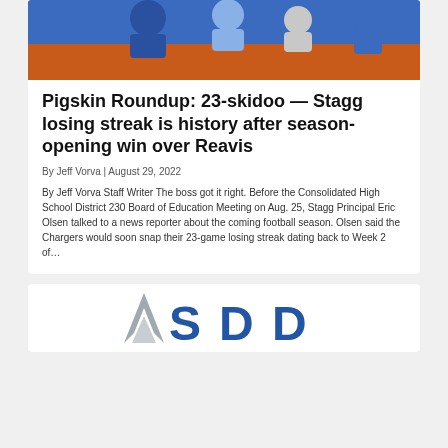[Figure (photo): Photo of football players in blue and orange uniforms]
Pigskin Roundup: 23-skidoo — Stagg losing streak is history after season-opening win over Reavis
By Jeff Vorva | August 29, 2022
By Jeff Vorva Staff Writer The boss got it right. Before the Consolidated High School District 230 Board of Education Meeting on Aug. 25, Stagg Principal Eric Olsen talked to a news reporter about the coming football season. Olsen said the Chargers would soon snap their 23-game losing streak dating back to Week 2 of…
[Figure (logo): SDD or similar organization logo with blue letters and a gray geometric mark]